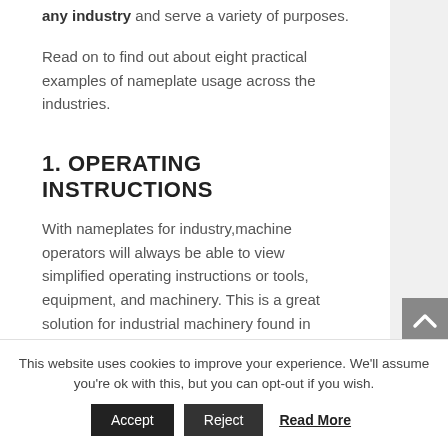any industry and serve a variety of purposes.
Read on to find out about eight practical examples of nameplate usage across the industries.
1. OPERATING INSTRUCTIONS
With nameplates for industry,machine operators will always be able to view simplified operating instructions or tools, equipment, and machinery. This is a great solution for industrial machinery found in harsh environments that require on-hands instruction. It's common to find metal nameplates in boiler rooms, to
This website uses cookies to improve your experience. We'll assume you're ok with this, but you can opt-out if you wish.